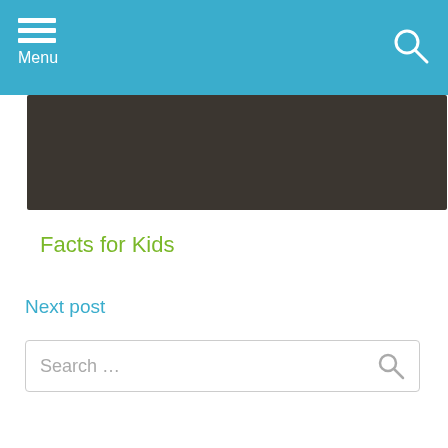Menu
[Figure (other): Dark banner image placeholder]
Facts for Kids
Next post
Search ...